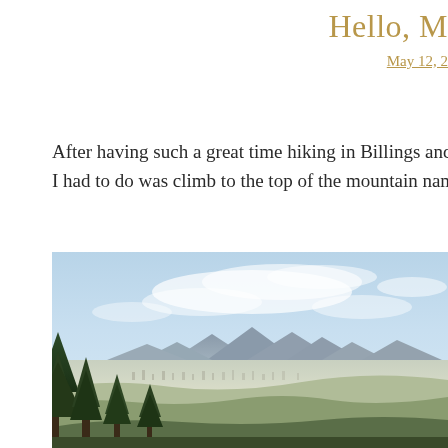Hello, M
May 12, 2
After having such a great time hiking in Billings and Bozema... I had to do was climb to the top of the mountain named afte...
[Figure (photo): Aerial landscape view from a hilltop showing evergreen trees in the foreground, a wide flat valley with a city in the middle distance, and mountain ranges under a partly cloudy blue sky.]